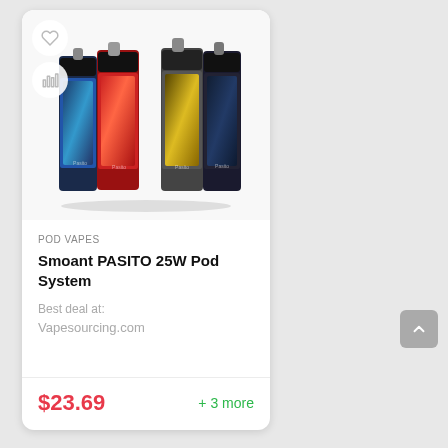[Figure (photo): Product card showing Smoant PASITO 25W Pod System vape devices in multiple colors (blue, red, grey, black) with decorative panels]
POD VAPES
Smoant PASITO 25W Pod System
Best deal at:
Vapesourcing.com
$23.69
+ 3 more